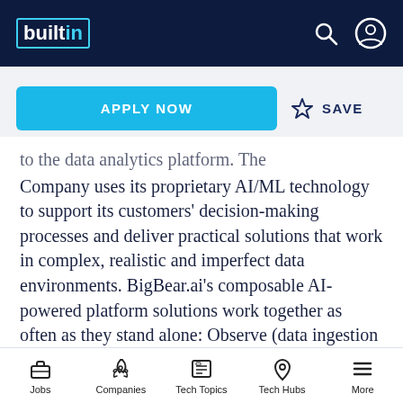builtin [logo] | search icon | user icon
APPLY NOW | ☆ SAVE
to the data analytics platform. The Company uses its proprietary AI/ML technology to support its customers' decision-making processes and deliver practical solutions that work in complex, realistic and imperfect data environments. BigBear.ai's composable AI-powered platform solutions work together as often as they stand alone: Observe (data ingestion and conflation), Orient (composable machine learning at scale),
Jobs | Companies | Tech Topics | Tech Hubs | More